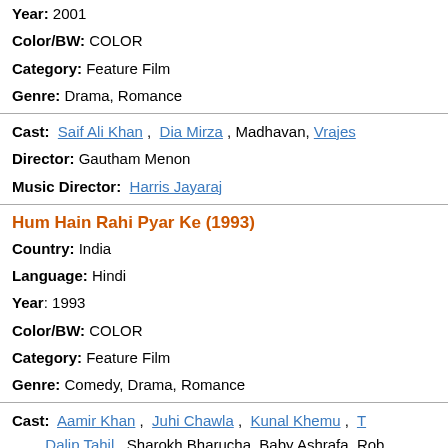Year: 2001
Color/BW: COLOR
Category: Feature Film
Genre: Drama, Romance
Cast: Saif Ali Khan, Dia Mirza, Madhavan, Vrajes...
Director: Gautham Menon
Music Director: Harris Jayaraj
Hum Hain Rahi Pyar Ke (1993)
Country: India
Language: Hindi
Year: 1993
Color/BW: COLOR
Category: Feature Film
Genre: Comedy, Drama, Romance
Cast: Aamir Khan, Juhi Chawla, Kunal Khemu, T... Dalip Tahil, Sharokh Bharucha, Baby Ashrafa, Rob...
Director: Mahesh Bhatt
Music Director: Nadeem-Shravan, Shyam-Surend...
Format: DVD
Label: Masar Raar